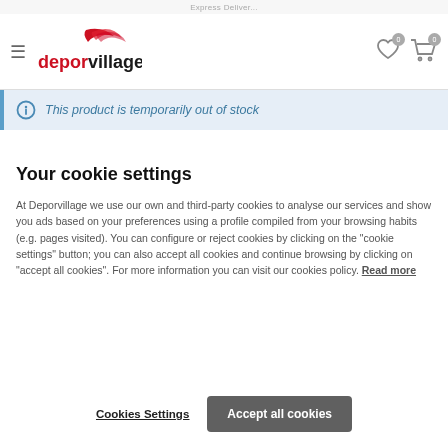deporvillage — navigation header with hamburger menu, logo, wishlist icon (0), cart icon (0)
This product is temporarily out of stock
Your cookie settings
At Deporvillage we use our own and third-party cookies to analyse our services and show you ads based on your preferences using a profile compiled from your browsing habits (e.g. pages visited). You can configure or reject cookies by clicking on the "cookie settings" button; you can also accept all cookies and continue browsing by clicking on "accept all cookies". For more information you can visit our cookies policy. Read more
Cookies Settings | Accept all cookies